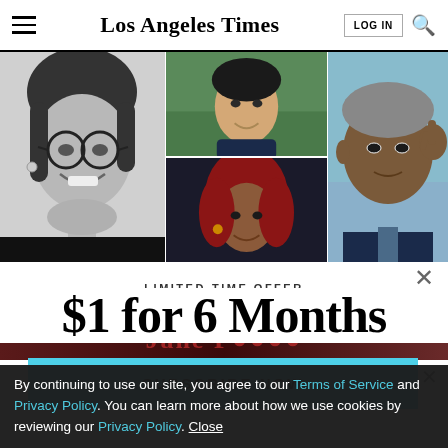Los Angeles Times | LOG IN
[Figure (photo): Collage of four portrait photos: top-left large black-and-white photo of a woman with glasses and short hair smiling; top-right color photo of an Asian man outdoors; bottom-center photo of a Black woman with red hair; right large color photo of Barack Obama with hand to temple.]
LIMITED-TIME OFFER
$1 for 6 Months
SUBSCRIBE NOW
By continuing to use our site, you agree to our Terms of Service and Privacy Policy. You can learn more about how we use cookies by reviewing our Privacy Policy. Close